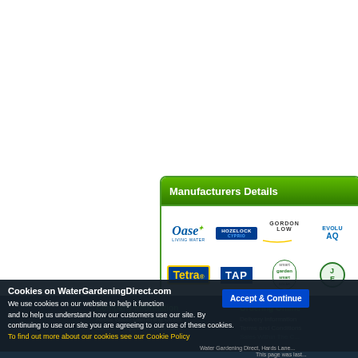[Figure (logo): Manufacturers Details panel with brand logos: Oase, Hozelock, Gordon Low, Evolution Aqua, Tetra, TAP, Smart Garden Smart Solar, and a partially visible circular logo]
Company Information
About Water Gardening Direct
Contact A Specific Department
How To Find Us
Ordering Online
Delivery Information
Terms and Conditions
Sales Within The C...
Cookies on WaterGardeningDirect.com
We use cookies on our website to help it function and to help us understand how our customers use our site. By continuing to use our site you are agreeing to our use of these cookies.
To find out more about our cookies see our Cookie Policy
Accept & Continue
Water Gardening Direct, Hards Lane...
This page was last...